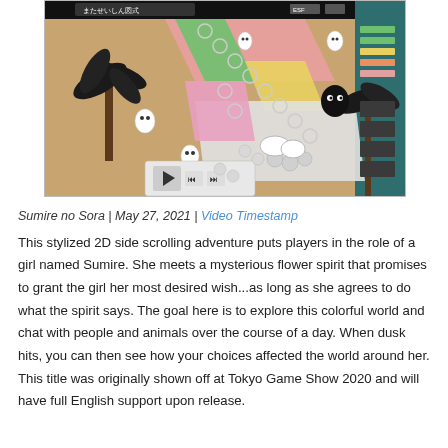[Figure (screenshot): Game screenshot showing a colorful 2D top-down board game style view with anime-style characters, palm trees, colorful tracks/paths, and a video player control bar at the bottom left. The game appears to be a mobile game with Japanese text visible.]
Sumire no Sora | May 27, 2021 | Video Timestamp
This stylized 2D side scrolling adventure puts players in the role of a girl named Sumire. She meets a mysterious flower spirit that promises to grant the girl her most desired wish...as long as she agrees to do what the spirit says. The goal here is to explore this colorful world and chat with people and animals over the course of a day. When dusk hits, you can then see how your choices affected the world around her. This title was originally shown off at Tokyo Game Show 2020 and will have full English support upon release.